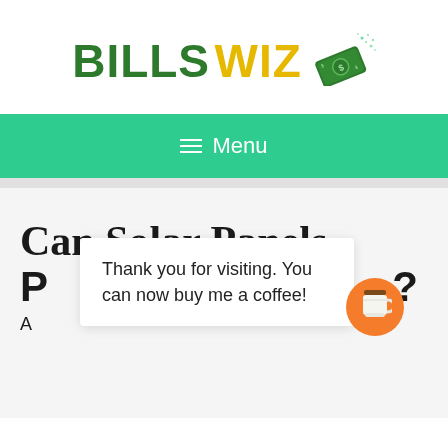[Figure (logo): Bills Wiz logo with green BILLS text, yellow WIZ text, and a flying money bill icon with sparkles]
≡ Menu
Can Solar Panels P...?
A...
Thank you for visiting. You can now buy me a coffee!